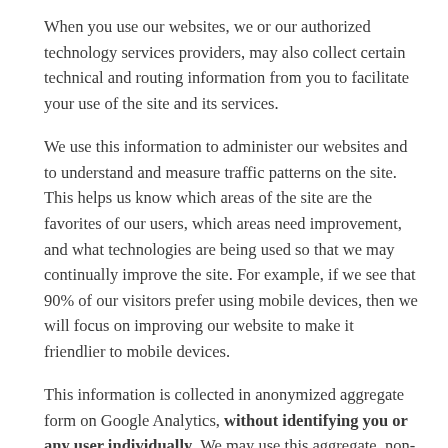When you use our websites, we or our authorized technology services providers, may also collect certain technical and routing information from you to facilitate your use of the site and its services.
We use this information to administer our websites and to understand and measure traffic patterns on the site. This helps us know which areas of the site are the favorites of our users, which areas need improvement, and what technologies are being used so that we may continually improve the site. For example, if we see that 90% of our visitors prefer using mobile devices, then we will focus on improving our website to make it friendlier to mobile devices.
This information is collected in anonymized aggregate form on Google Analytics, without identifying you or any user individually. We may use this aggregate, non-identifying statistical data for